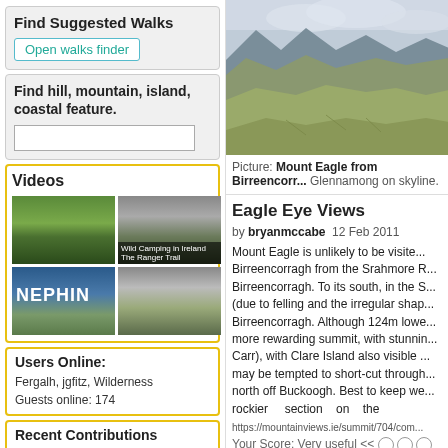Find Suggested Walks
Open walks finder
Find hill, mountain, island, coastal feature.
Videos
[Figure (photo): Four video thumbnails in a 2x2 grid: hiking near a lake, wild camping in Ireland/The Ranger Trail, NEPHIN summit with trig point and person, and a mountain landscape]
Users Online:
Fergalh, jgfitz, Wilderness
Guests online: 174
Recent Contributions
1 2 3 .. 15 Next page >>
Get Notifications
A pleasant forested walk
[Figure (photo): Mountain landscape photograph showing Mount Eagle from Birreencorragh with Glennamong on skyline, showing grassy hillside, rocky terrain, and overcast sky]
Picture: Mount Eagle from Birreencorragh. Glennamong on skyline.
Eagle Eye Views
by bryanmccabe  12 Feb 2011
Mount Eagle is unlikely to be visited... Birreencorragh from the Srahmore R... Birreencorragh. To its south, in the S... (due to felling and the irregular shap... Birreencorragh. Although 124m lowe... more rewarding summit, with stunni... Carr), with Clare Island also visible... may be tempted to short-cut through... north off Buckoogh. Best to keep we... rockier    section    on    the
https://mountainviews.ie/summit/704/com...
Your Score: Very useful <<